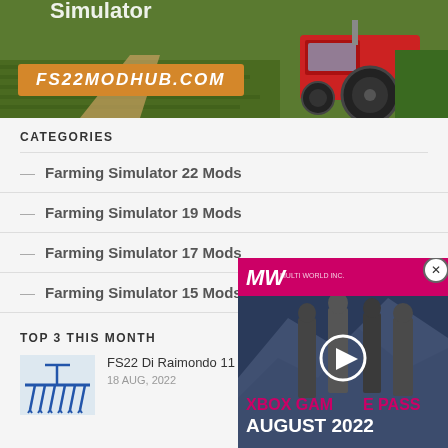[Figure (photo): Banner advertisement for FS22MODHUB.COM showing a tractor on a farm field with green crops]
CATEGORIES
Farming Simulator 22 Mods
Farming Simulator 19 Mods
Farming Simulator 17 Mods
Farming Simulator 15 Mods
TOP 3 THIS MONTH
[Figure (photo): Thumbnail of farm equipment - FS22 Di Raimondo 11 Tines v1.0, blue farm tool illustration]
FS22 Di Raimondo 11 Tines v1.0
18 AUG, 2022
[Figure (advertisement): Xbox Game Pass August 2022 video ad overlay with MW logo and soldiers in background]